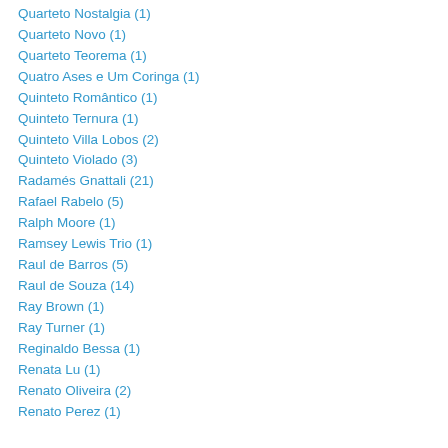Quarteto Nostalgia (1)
Quarteto Novo (1)
Quarteto Teorema (1)
Quatro Ases e Um Coringa (1)
Quinteto Romântico (1)
Quinteto Ternura (1)
Quinteto Villa Lobos (2)
Quinteto Violado (3)
Radamés Gnattali (21)
Rafael Rabelo (5)
Ralph Moore (1)
Ramsey Lewis Trio (1)
Raul de Barros (5)
Raul de Souza (14)
Ray Brown (1)
Ray Turner (1)
Reginaldo Bessa (1)
Renata Lu (1)
Renato Oliveira (2)
Renato Perez (1)